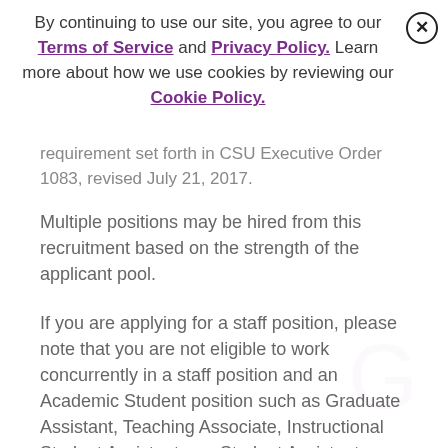By continuing to use our site, you agree to our Terms of Service and Privacy Policy. Learn more about how we use cookies by reviewing our Cookie Policy.
requirement set forth in CSU Executive Order 1083, revised July 21, 2017.
Multiple positions may be hired from this recruitment based on the strength of the applicant pool.
If you are applying for a staff position, please note that you are not eligible to work concurrently in a staff position and an Academic Student position such as Graduate Assistant, Teaching Associate, Instructional Student Assistant or a Student Assistant position.
Regular attendance is considered an essential job function.
Employee/applicant who submits an application for a position may be required to successfully complete job related performance test(s) as part of the selection